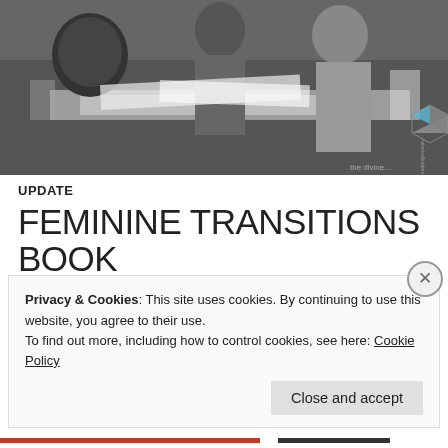[Figure (photo): Black and white photo of people gathered around a table looking at papers/documents at a book launch event]
UPDATE
FEMININE TRANSITIONS BOOK LAUNCH....SUCCESS!
OCTOBER 30, 2013   LEAVE A COMMENT
Privacy & Cookies: This site uses cookies. By continuing to use this website, you agree to their use.
To find out more, including how to control cookies, see here: Cookie Policy
Close and accept